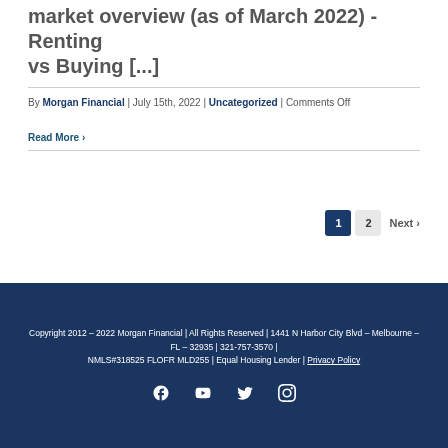market overview (as of March 2022) - Renting vs Buying [...]
By Morgan Financial | July 15th, 2022 | Uncategorized | Comments Off
Read More ›
1  2  Next ›
Copyright 2012 – 2022 Morgan Financial | All Rights Reserved | 1441 N Harbor City Blvd – Melbourne – FL – 32935 | 321-757-3570 | NMLS#318525 FLOFR MLD255 | Equal Housing Lender | Privacy Policy